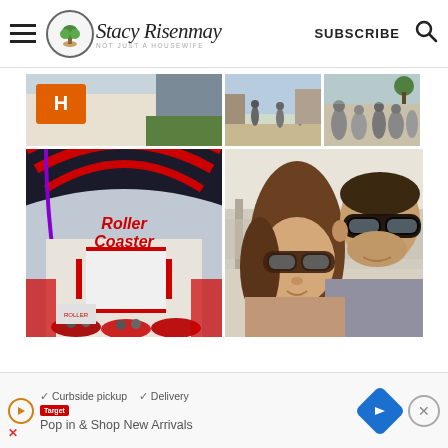StacyRisenmay — Not Just a Housewife | SUBSCRIBE | Search
[Figure (photo): Photo collage: top-left shows a building exterior with Home Depot logo; top-middle and top-right show outdoor amusement park scenes with people; bottom-left shows a Roller Coaster ride entrance with red arches; bottom-right shows a couple selfie wearing sunglasses at an amusement park.]
[Figure (screenshot): Advertisement banner: checkmarks for Curbside pickup and Delivery. Play button icon, retailer logo, navigation arrow icon, text 'Pop in & Shop New Arrivals', and close X button.]